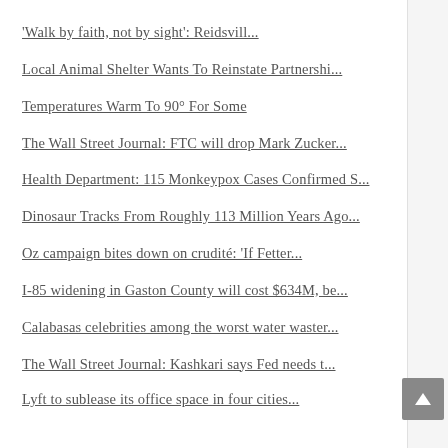'Walk by faith, not by sight': Reidsvill...
Local Animal Shelter Wants To Reinstate Partnershi...
Temperatures Warm To 90° For Some
The Wall Street Journal: FTC will drop Mark Zucker...
Health Department: 115 Monkeypox Cases Confirmed S...
Dinosaur Tracks From Roughly 113 Million Years Ago...
Oz campaign bites down on crudité: 'If Fetter...
I-85 widening in Gaston County will cost $634M, be...
Calabasas celebrities among the worst water waster...
The Wall Street Journal: Kashkari says Fed needs t...
Lyft to sublease its office space in four cities...